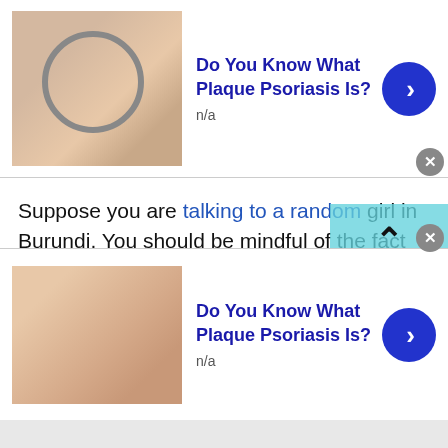[Figure (screenshot): Top ad banner: image of hand with skin lesion and magnifying glass, ad title 'Do You Know What Plaque Psoriasis Is?', n/a subtext, blue arrow button, close X button]
Suppose you are talking to a random girl in Burundi. You should be mindful of the fact that females in Burundi will stay reluctant to share their personal details until and unless they build an emotional and trustable bond when they chat with people of Burundi and other countries.

In this regard, you should always stay easy on asking for the personal details. If you chat with the people of Burundi, then be very careful with personal details. At least for...
[Figure (screenshot): Bottom ad banner: image of hand with skin lesion, ad title 'Do You Know What Plaque Psoriasis Is?', n/a subtext, blue arrow button, close X button]